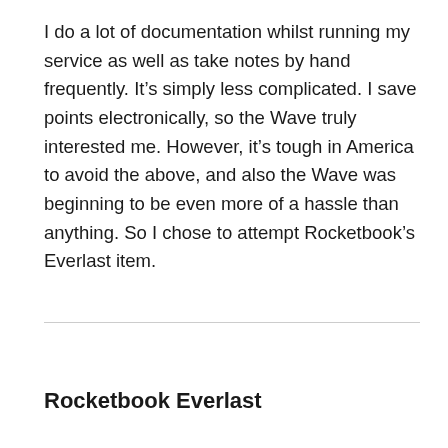I do a lot of documentation whilst running my service as well as take notes by hand frequently. It's simply less complicated. I save points electronically, so the Wave truly interested me. However, it's tough in America to avoid the above, and also the Wave was beginning to be even more of a hassle than anything. So I chose to attempt Rocketbook's Everlast item.
Rocketbook Everlast